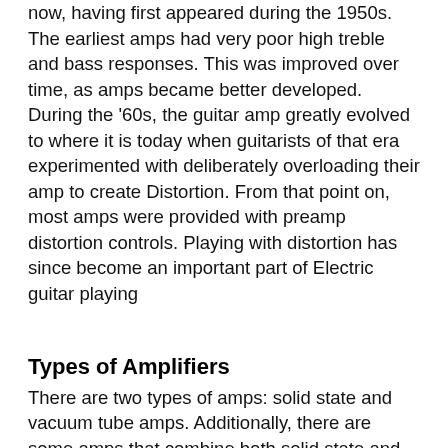now, having first appeared during the 1950s. The earliest amps had very poor high treble and bass responses. This was improved over time, as amps became better developed. During the '60s, the guitar amp greatly evolved to where it is today when guitarists of that era experimented with deliberately overloading their amp to create Distortion. From that point on, most amps were provided with preamp distortion controls. Playing with distortion has since become an important part of Electric guitar playing
Types of Amplifiers
There are two types of amps: solid state and vacuum tube amps. Additionally, there are some amps that combine both solid state and tube technologies. Most amps, especially the least expensive ones, are solid state because they are lighter and easier to repair than tube amps are. A lot of guitarists,